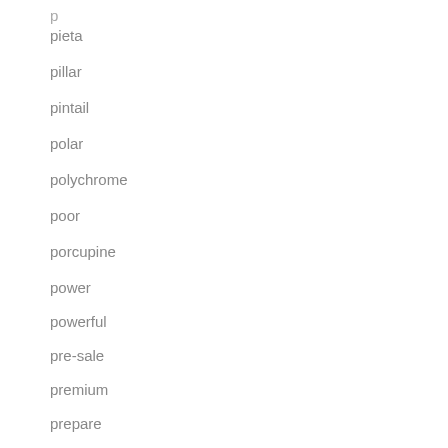pieta
pillar
pintail
polar
polychrome
poor
porcupine
power
powerful
pre-sale
premium
prepare
primitive
professional
puerto
puffer